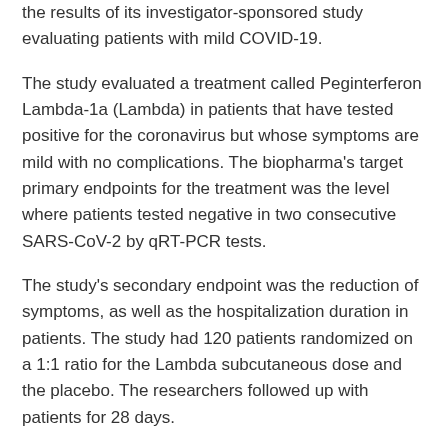the results of its investigator-sponsored study evaluating patients with mild COVID-19.
The study evaluated a treatment called Peginterferon Lambda-1a (Lambda) in patients that have tested positive for the coronavirus but whose symptoms are mild with no complications. The biopharma's target primary endpoints for the treatment was the level where patients tested negative in two consecutive SARS-CoV-2 by qRT-PCR tests.
The study's secondary endpoint was the reduction of symptoms, as well as the hospitalization duration in patients. The study had 120 patients randomized on a 1:1 ratio for the Lambda subcutaneous dose and the placebo. The researchers followed up with patients for 28 days.
Evaluating the results of the